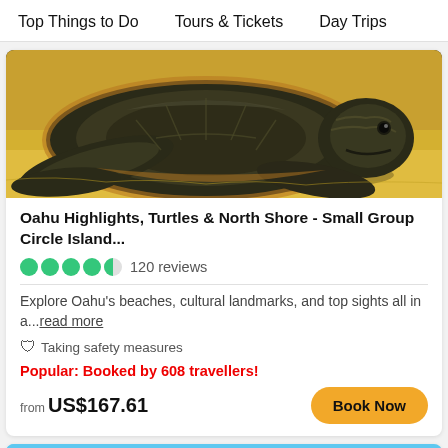Top Things to Do   Tours & Tickets   Day Trips
[Figure (photo): Close-up photo of a sea turtle resting on yellow sandy beach]
Oahu Highlights, Turtles & North Shore - Small Group Circle Island...
120 reviews
Explore Oahu's beaches, cultural landmarks, and top sights all in a...read more
Taking safety measures
Popular: Booked by 608 travellers!
from US$167.61
[Figure (photo): Partial view of a blue sky with clouds and green hillside, bottom of page]